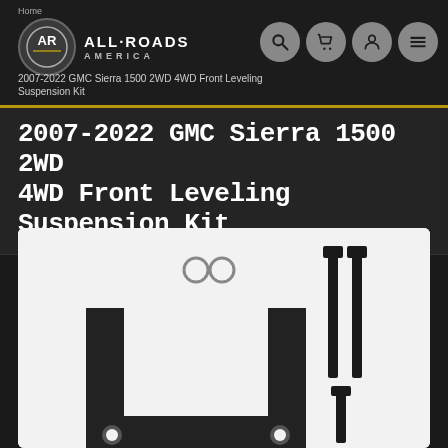Home / 2007-2022 GMC Sierra 1500 2WD 4WD Front Leveling Suspension Kit
2007-2022 GMC Sierra 1500 2WD 4WD Front Leveling Suspension Kit
[Figure (photo): Product photo of a front leveling suspension kit showing a U-shaped bracket spacer with two bolt holes at bottom and two round holes at top, alongside several long bolts/hardware pieces, all in black metal, on white background.]